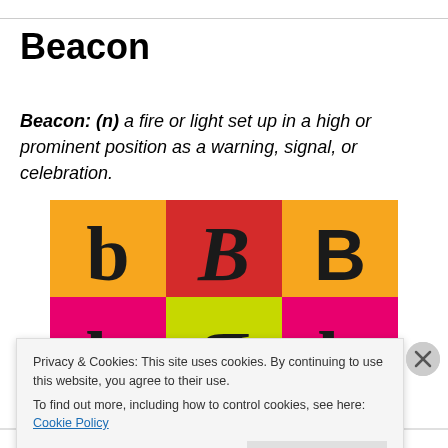Beacon
Beacon: (n) a fire or light set up in a high or prominent position as a warning, signal, or celebration.
[Figure (illustration): A 2x3 grid of colored tiles (orange, red, yellow-green, pink) each showing a letter B in different fonts and styles — lowercase b, uppercase B serif, uppercase B sans-serif, mirrored/inverted variants.]
Privacy & Cookies: This site uses cookies. By continuing to use this website, you agree to their use.
To find out more, including how to control cookies, see here: Cookie Policy
Close and accept